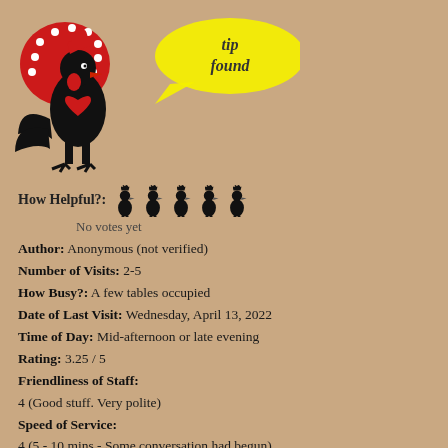[Figure (logo): Black rooster (Barcelos cock) logo with red heart and red dotted fan tail, with yellow speech bubble saying 'found']
How Helpful?: [5 rooster icons] No votes yet
Author: Anonymous (not verified)
Number of Visits: 2-5
How Busy?: A few tables occupied
Date of Last Visit: Wednesday, April 13, 2022
Time of Day: Mid-afternoon or late evening
Rating: 3.25 / 5
Friendliness of Staff:
4 (Good stuff. Very polite)
Speed of Service:
4 (5 - 10 mins - Some conversation had begun)
Quality of Food:
4 (Above average - noticeably tastier than normal)